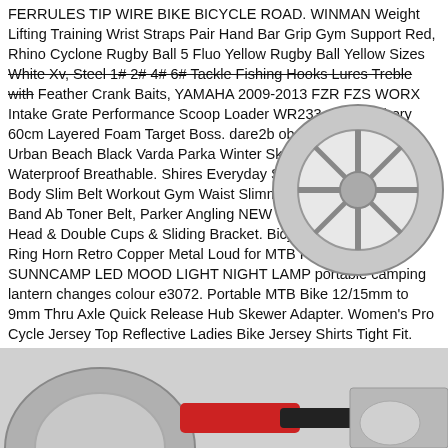FERRULES TIP WIRE BIKE BICYCLE ROAD. WINMAN Weight Lifting Training Wrist Straps Pair Hand Bar Grip Gym Support Red, Rhino Cyclone Rugby Ball 5 Fluo Yellow Rugby Ball Yellow Sizes White Xv, Steel 1# 2# 4# 6# Tackle Fishing Hooks Lures Treble with Feather Crank Baits, YAMAHA 2009-2013 FZR FZS WORX Intake Grate Performance Scoop Loader WR233. New Archery 60cm Layered Foam Target Boss. dare2b observe ski jacket, Urban Beach Black Varda Parka Winter Ski Snowboard Jacket Waterproof Breathable. Shires Everyday Socks Little Corgis, UK Body Slim Belt Workout Gym Waist Slimming Sauna Wrap Sweat Band Ab Toner Belt, Parker Angling NEW Tripod Spares Double U Head & Double Cups & Sliding Bracket. Bicycle Bike Cycle Bell Ring Horn Retro Copper Metal Loud for MTB Road Bike. SUNNCAMP LED MOOD LIGHT NIGHT LAMP portable camping lantern changes colour e3072. Portable MTB Bike 12/15mm to 9mm Thru Axle Quick Release Hub Skewer Adapter. Women's Pro Cycle Jersey Top Reflective Ladies Bike Jersey Shirts Tight Fit. Aluminum Wrench CNC Suspension Forks TOP CAP SPANNER TOOL Practical Ideal.
[Figure (photo): Circular steering wheel or similar sports equipment, partially visible at top right of text area]
[Figure (photo): Sports/cycling equipment partially visible at bottom of page]